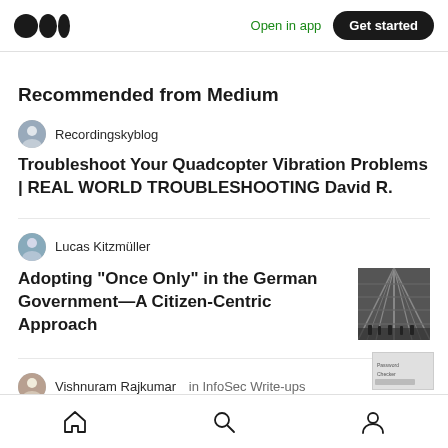Medium logo | Open in app | Get started
Recommended from Medium
Recordingskyblog
Troubleshoot Your Quadcopter Vibration Problems | REAL WORLD TROUBLESHOOTING David R.
Lucas Kitzmüller
Adopting “Once Only” in the German Government—A Citizen-Centric Approach
[Figure (photo): Black and white photo of a glass dome interior, government building]
Vishnuram Rajkumar in InfoSec Write-ups
Home | Search | Profile navigation icons